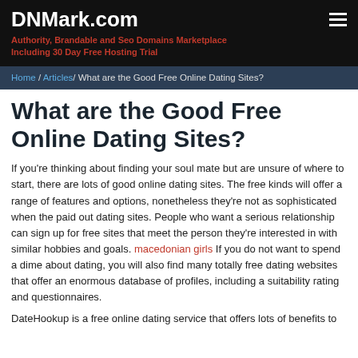DNMark.com
Authority, Brandable and Seo Domains Marketplace Including 30 Day Free Hosting Trial
Home / Articles / What are the Good Free Online Dating Sites?
What are the Good Free Online Dating Sites?
If you're thinking about finding your soul mate but are unsure of where to start, there are lots of good online dating sites. The free kinds will offer a range of features and options, nonetheless they're not as sophisticated when the paid out dating sites. People who want a serious relationship can sign up for free sites that meet the person they're interested in with similar hobbies and goals. macedonian girls If you do not want to spend a dime about dating, you will also find many totally free dating websites that offer an enormous database of profiles, including a suitability rating and questionnaires.
DateHookup is a free online dating service that offers lots of benefits to